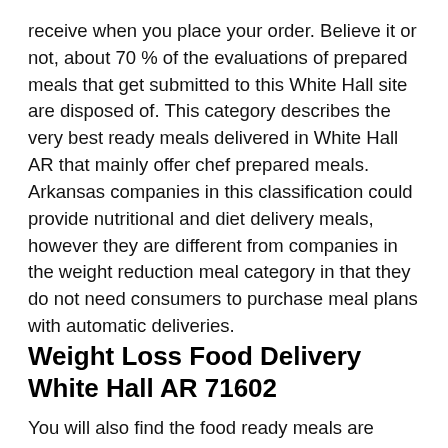receive when you place your order. Believe it or not, about 70 % of the evaluations of prepared meals that get submitted to this White Hall site are disposed of. This category describes the very best ready meals delivered in White Hall AR that mainly offer chef prepared meals. Arkansas companies in this classification could provide nutritional and diet delivery meals, however they are different from companies in the weight reduction meal category in that they do not need consumers to purchase meal plans with automatic deliveries.
Weight Loss Food Delivery White Hall AR 71602
You will also find the food ready meals are prepared by the finest chefs in White Hall trained in preparing healthy meals so the servings are just enough, however they are positively filling. The dishes are well-planned to satisfy the palate, and the price is inexpensive even if you acquire these meals